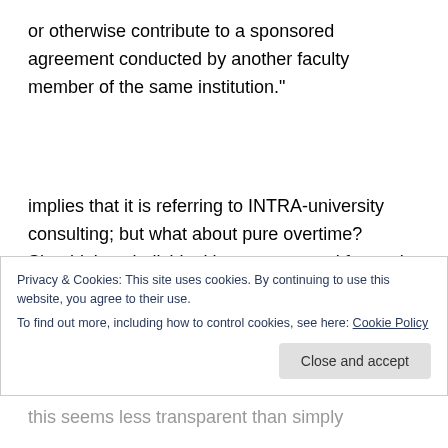or otherwise contribute to a sponsored agreement conducted by another faculty member of the same institution."
implies that it is referring to INTRA-university consulting; but what about pure overtime? Shouldn’t an individual be remunerated for work over the 100% mark? What about the loss of time with family — is that just part of the deal? Why should scientists work harder for less? This is AMERICA, you know, land of opportunity and
Privacy & Cookies: This site uses cookies. By continuing to use this website, you agree to their use.
To find out more, including how to control cookies, see here: Cookie Policy
this seems less transparent than simply